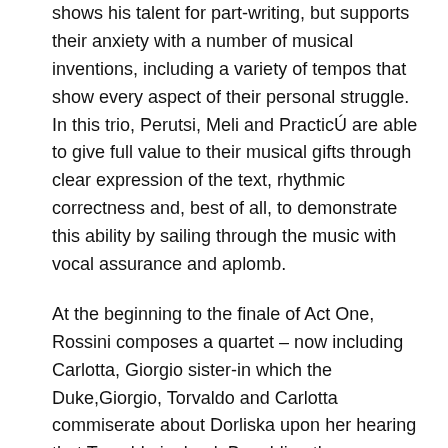shows his talent for part-writing, but supports their anxiety with a number of musical inventions, including a variety of tempos that show every aspect of their personal struggle. In this trio, Perutsi, Meli and PracticÚ are able to give full value to their musical gifts through clear expression of the text, rhythmic correctness and, best of all, to demonstrate this ability by sailing through the music with vocal assurance and aplomb.
At the beginning to the finale of Act One, Rossini composes a quartet – now including Carlotta, Giorgio sister-in which the Duke,Giorgio, Torvaldo and Carlotta commiserate about Dorliska upon her hearing that Torvaldo is dead. By adding the soprano line, the composer is able to fully shape the vocal refrain with such pathos, equaling the type of emotional response Verdi would accomplish in the future.
In Act Two, Torvaldo's aria of hope in finding Dorliska and